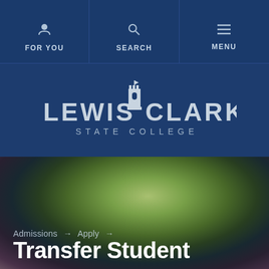FOR YOU | SEARCH | MENU
[Figure (logo): Lewis & Clark State College logo with castle tower icon, white/light blue text on dark navy background]
[Figure (photo): Blurred outdoor campus photo with green and dark tones]
Admissions → Apply →
Transfer Student